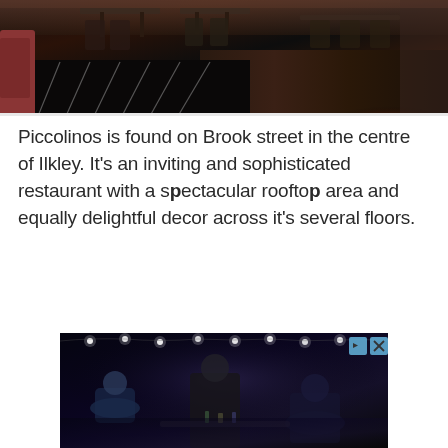[Figure (photo): Interior of Piccolinos restaurant showing dark flooring with white stripe lines, warm red/orange glow on the floor, tables and chairs visible, and a red sofa on the left side]
Piccolinos is found on Brook street in the centre of Ilkley. It's an inviting and sophisticated restaurant with a spectacular rooftop area and equally delightful decor across it's several floors.
[Figure (photo): Advertisement image showing a dimly lit restaurant or bar scene with string lights overhead and people seated, dark atmospheric setting with blue-toned lighting]